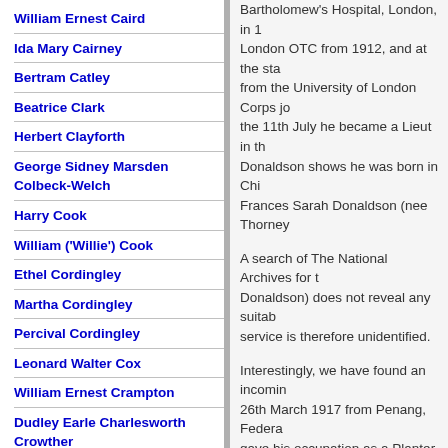William Ernest Caird
Ida Mary Cairney
Bertram Catley
Beatrice Clark
Herbert Clayforth
George Sidney Marsden Colbeck-Welch
Harry Cook
William ('Willie') Cook
Ethel Cordingley
Martha Cordingley
Percival Cordingley
Leonard Walter Cox
William Ernest Crampton
Dudley Earle Charlesworth Crowther
Mary Eileen Crowther
George Robert Cumberland
Cecil Ernest Curtis
Bartholomew's Hospital, London, in 1... London OTC from 1912, and at the sta... from the University of London Corps jo... the 11th July he became a Lieut in th... Donaldson shows he was born in Chi... Frances Sarah Donaldson (nee Thorney...
A search of The National Archives for t... Donaldson) does not reveal any suitab... service is therefore unidentified.
Interestingly, we have found an incomin... 26th March 1917 from Penang, Federa... gave his occupation as a Planter.
In the summer of 1923, Eric Lockwood ... Devon and in 1924 they had a son, Joh... Mantua bound back to Penang, Eric aga...
Finally, Eric Lockwood Donaldson of P... 1927.
Which, if either, of these records corres... clear.